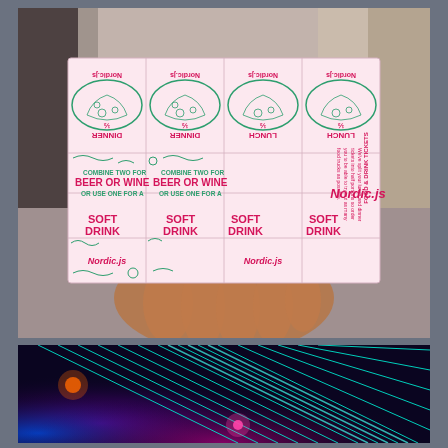[Figure (photo): A hand holding Nordic.js conference food and drink tickets. The tickets are printed on a pink/white sheet with green and magenta/red text. The sheet shows multiple perforated tickets arranged in a grid. Top row shows upside-down burrito illustrations with labels for LUNCH and DINNER (1/2 portions). Middle row shows 'COMBINE TWO FOR BEER OR WINE OR USE ONE FOR A'. Bottom row shows 'SOFT DRINK' repeated four times. Nordic.js branding appears throughout. The tickets have decorative squiggly lines and small illustrations.]
[Figure (photo): A concert or event venue with colorful laser light show. Teal/cyan laser beams cross the ceiling/air in parallel diagonal lines. Purple and pink lighting illuminates the space below. The scene appears to be from a conference party or after-party event for Nordic.js.]